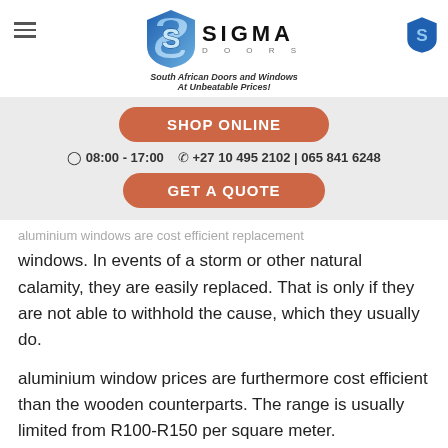Sigma Doors — South African Doors and Windows At Unbeatable Prices!
SHOP ONLINE
08:00 - 17:00   +27 10 495 2102 | 065 841 6248
GET A QUOTE
aluminium windows are cost efficient replacement windows. In events of a storm or other natural calamity, they are easily replaced. That is only if they are not able to withhold the cause, which they usually do.
aluminium window prices are furthermore cost efficient than the wooden counterparts. The range is usually limited from R100-R150 per square meter.
For further modernized guides, various forums and blogs